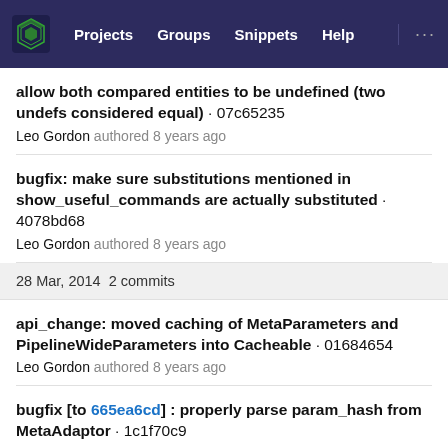Projects  Groups  Snippets  Help
allow both compared entities to be undefined (two undefs considered equal) · 07c65235
Leo Gordon authored 8 years ago
bugfix: make sure substitutions mentioned in show_useful_commands are actually substituted · 4078bd68
Leo Gordon authored 8 years ago
28 Mar, 2014  2 commits
api_change: moved caching of MetaParameters and PipelineWideParameters into Cacheable · 01684654
Leo Gordon authored 8 years ago
bugfix [to 665ea6cd] : properly parse param_hash from MetaAdaptor · 1c1f70c9
Leo Gordon authored 8 years ago
27 Mar, 2014  1 commit